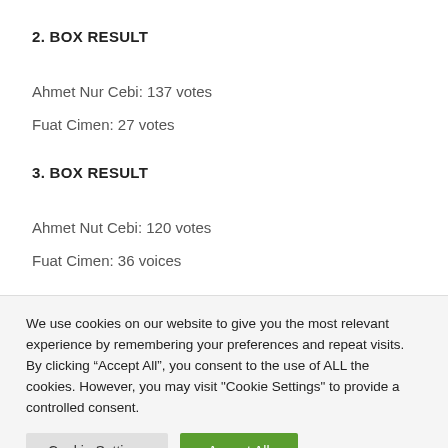2. BOX RESULT
Ahmet Nur Cebi: 137 votes
Fuat Cimen: 27 votes
3. BOX RESULT
Ahmet Nut Cebi: 120 votes
Fuat Cimen: 36 voices
We use cookies on our website to give you the most relevant experience by remembering your preferences and repeat visits. By clicking “Accept All”, you consent to the use of ALL the cookies. However, you may visit "Cookie Settings" to provide a controlled consent.